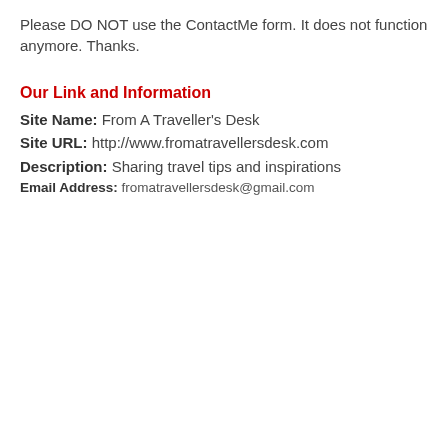Please DO NOT use the ContactMe form. It does not function anymore. Thanks.
Our Link and Information
Site Name: From A Traveller's Desk
Site URL: http://www.fromatravellersdesk.com
Description: Sharing travel tips and inspirations
Email Address: fromatravellersdesk@gmail.com